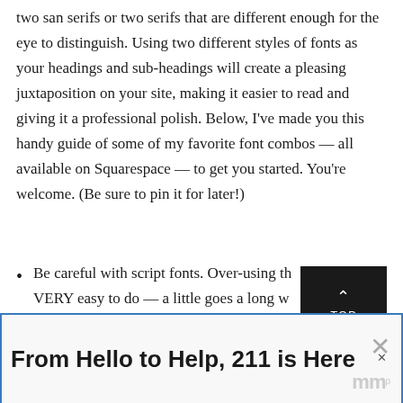two san serifs or two serifs that are different enough for the eye to distinguish. Using two different styles of fonts as your headings and sub-headings will create a pleasing juxtaposition on your site, making it easier to read and giving it a professional polish. Below, I've made you this handy guide of some of my favorite font combos — all available on Squarespace — to get you started. You're welcome. (Be sure to pin it for later!)
Be careful with script fonts. Over-using th... VERY easy to do — a little goes a long w...
[Figure (other): Black 'TOP' button with upward arrow for scrolling to top of page]
[Figure (other): Advertisement banner reading 'From Hello to Help, 211 is Here' with close buttons and watermark]